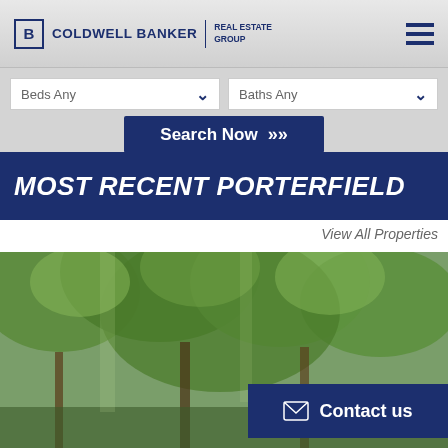Coldwell Banker Real Estate Group
Beds Any
Baths Any
Search Now
MOST RECENT PORTERFIELD
View All Properties
[Figure (photo): Outdoor photo showing trees with green foliage, residential property in Porterfield area]
Contact us